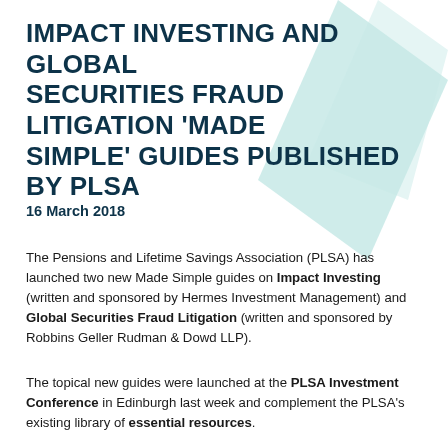IMPACT INVESTING AND GLOBAL SECURITIES FRAUD LITIGATION 'MADE SIMPLE' GUIDES PUBLISHED BY PLSA
16 March 2018
The Pensions and Lifetime Savings Association (PLSA) has launched two new Made Simple guides on Impact Investing (written and sponsored by Hermes Investment Management) and Global Securities Fraud Litigation (written and sponsored by Robbins Geller Rudman & Dowd LLP).
The topical new guides were launched at the PLSA Investment Conference in Edinburgh last week and complement the PLSA's existing library of essential resources.